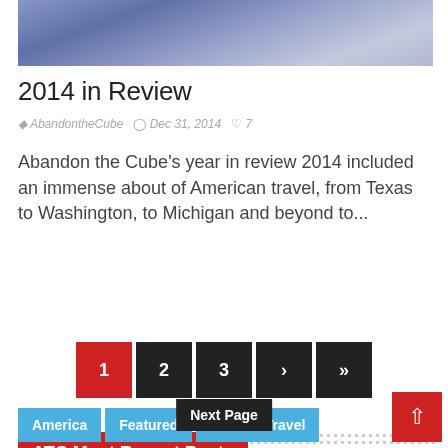[Figure (photo): Cropped blue-toned photograph at top of page]
2014 in Review
AbandontheCube  Dec 31, 2014  7
Abandon the Cube's year in review 2014 included an immense about of American travel, from Texas to Washington, to Michigan and beyond to...
1 2 3 › » Next Page
ATC Most Recent Posts
America  Featured  Ground Travel